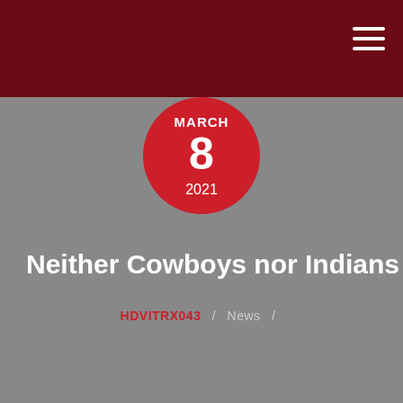[Figure (illustration): Date badge circle with red background showing MARCH 8 2021]
Neither Cowboys nor Indians
HDVITRX043 / News /